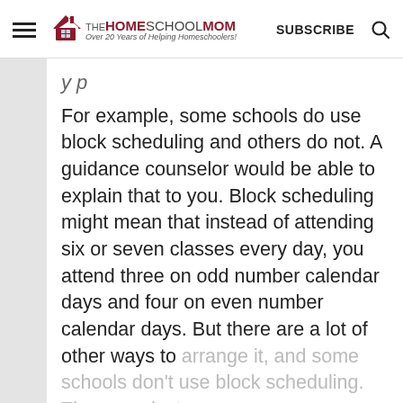THE HOMESCHOOL MOM — Over 20 Years of Helping Homeschoolers! | SUBSCRIBE
For example, some schools do use block scheduling and others do not. A guidance counselor would be able to explain that to you. Block scheduling might mean that instead of attending six or seven classes every day, you attend three on odd number calendar days and four on even number calendar days. But there are a lot of other ways to arrange it, and some schools don't use block scheduling. They may just